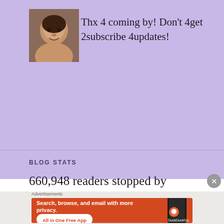[Figure (photo): Profile photo of a smiling woman]
Thx 4 coming by! Don't 4get 2subscribe 4updates!
BLOG STATS
660,948 readers stopped by
Advertisements
[Figure (screenshot): DuckDuckGo advertisement banner: Search, browse, and email with more privacy. All in One Free App.]